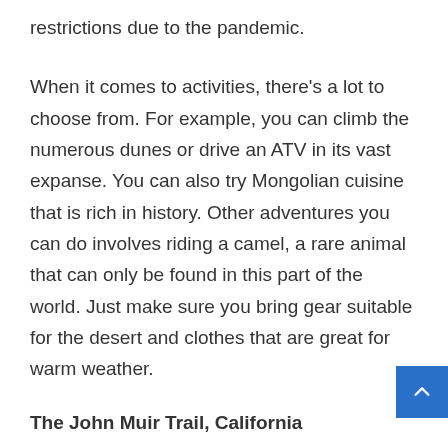restrictions due to the pandemic.
When it comes to activities, there's a lot to choose from. For example, you can climb the numerous dunes or drive an ATV in its vast expanse. You can also try Mongolian cuisine that is rich in history. Other adventures you can do involves riding a camel, a rare animal that can only be found in this part of the world. Just make sure you bring gear suitable for the desert and clothes that are great for warm weather.
The John Muir Trail, California
For the last place on this list, let's go somewhere domestic. California isn't known for its wilderness, but it has one of the world's best nature trails. The John Muir Trail is known to many hikers worldwide, and it's